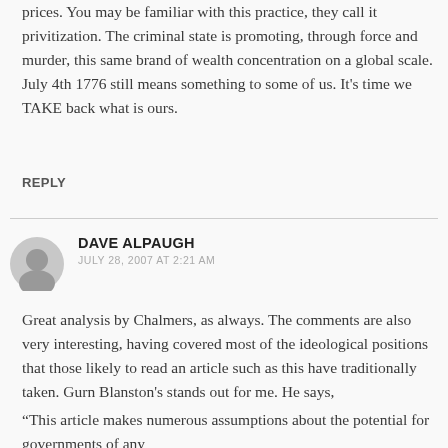prices. You may be familiar with this practice, they call it privitization. The criminal state is promoting, through force and murder, this same brand of wealth concentration on a global scale. July 4th 1776 still means something to some of us. It's time we TAKE back what is ours.
REPLY
DAVE ALPAUGH
JULY 28, 2007 AT 2:21 AM
Great analysis by Chalmers, as always. The comments are also very interesting, having covered most of the ideological positions that those likely to read an article such as this have traditionally taken. Gurn Blanston's stands out for me. He says,
“This article makes numerous assumptions about the potential for governments of any